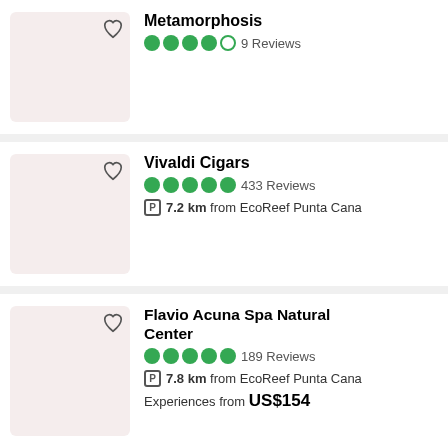[Figure (other): Listing card for Metamorphosis with thumbnail image placeholder, heart icon, star rating (4 out of 5 circles filled green, one empty), and 9 Reviews]
Metamorphosis
9 Reviews
[Figure (other): Listing card for Vivaldi Cigars with thumbnail image placeholder, heart icon, 5 filled green circles, 433 Reviews, P icon, 7.2 km from EcoReef Punta Cana]
Vivaldi Cigars
433 Reviews
7.2 km from EcoReef Punta Cana
[Figure (other): Listing card for Flavio Acuna Spa Natural Center with thumbnail image placeholder, heart icon, 5 filled green circles, 189 Reviews, P icon, 7.8 km from EcoReef Punta Cana, Experiences from US$154]
Flavio Acuna Spa Natural Center
189 Reviews
7.8 km from EcoReef Punta Cana
Experiences from US$154